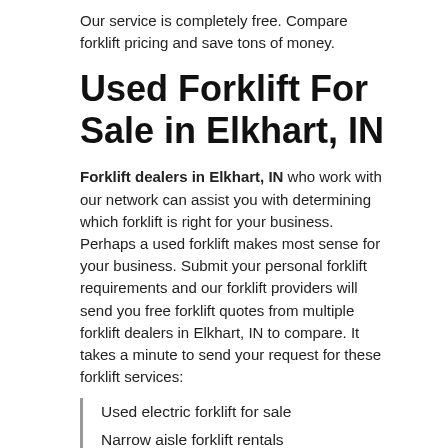Our service is completely free. Compare forklift pricing and save tons of money.
Used Forklift For Sale in Elkhart, IN
Forklift dealers in Elkhart, IN who work with our network can assist you with determining which forklift is right for your business. Perhaps a used forklift makes most sense for your business. Submit your personal forklift requirements and our forklift providers will send you free forklift quotes from multiple forklift dealers in Elkhart, IN to compare. It takes a minute to send your request for these forklift services:
Used electric forklift for sale
Narrow aisle forklift rentals
Small forklift rentals
Used fork lifts